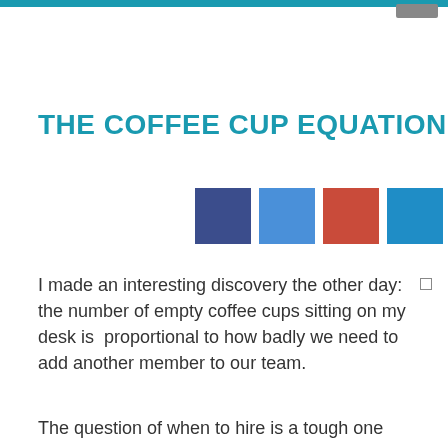THE COFFEE CUP EQUATION
[Figure (illustration): Four colored social media icon squares: dark blue (Facebook), light blue (Twitter), red (Google+), medium blue (LinkedIn)]
I made an interesting discovery the other day: the number of empty coffee cups sitting on my desk is  proportional to how badly we need to add another member to our team.
The question of when to hire is a tough one